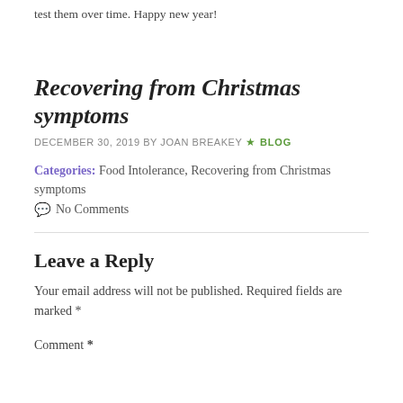test them over time. Happy new year!
Recovering from Christmas symptoms
DECEMBER 30, 2019 BY JOAN BREAKEY  ★ BLOG
Categories: Food Intolerance, Recovering from Christmas symptoms
No Comments
Leave a Reply
Your email address will not be published. Required fields are marked *
Comment *